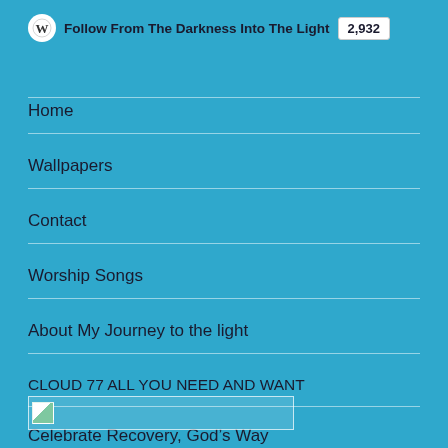Follow From The Darkness Into The Light 2,932
Home
Wallpapers
Contact
Worship Songs
About My Journey to the light
CLOUD 77 ALL YOU NEED AND WANT
Celebrate Recovery, God’s Way
[Figure (other): Small image placeholder at bottom of page]